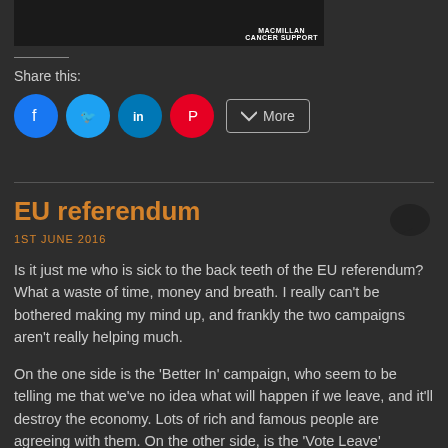[Figure (photo): Dark image with green plant/leaf and Macmillan Cancer Support logo in bottom right]
Share this:
[Figure (infographic): Social share buttons: Facebook (blue circle), Twitter (light blue circle), LinkedIn (blue circle), Pinterest (red circle), More button (outlined rectangle)]
EU referendum
1ST JUNE 2016
Is it just me who is sick to the back teeth of the EU referendum? What a waste of time, money and breath. I really can't be bothered making my mind up, and frankly the two campaigns aren't really helping much.
On the one side is the 'Better In' campaign, who seem to be telling me that we've no idea what will happen if we leave, and it'll destroy the economy. Lots of rich and famous people are agreeing with them. On the other side, is the 'Vote Leave' campaign, with Boris Johnson shouting a lot about 'Knickers' and 'Bananas' and Michael